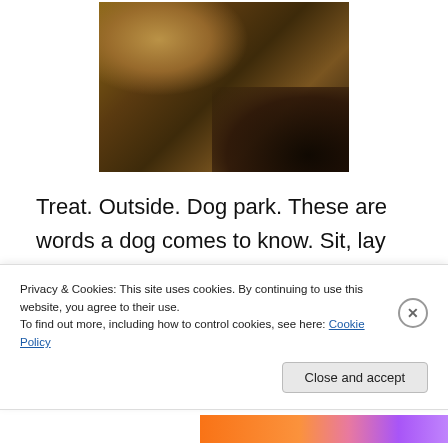[Figure (photo): Close-up photo of a fluffy dog with dark amber and brown tones, taken in dim lighting on a patterned surface.]
Treat. Outside. Dog park. These are words a dog comes to know. Sit, lay down, roll over. These are tricks of the canine trade. But love, faith, forgiveness and loyalty? These are words to live by. In a constantly evolving
Privacy & Cookies: This site uses cookies. By continuing to use this website, you agree to their use.
To find out more, including how to control cookies, see here: Cookie Policy